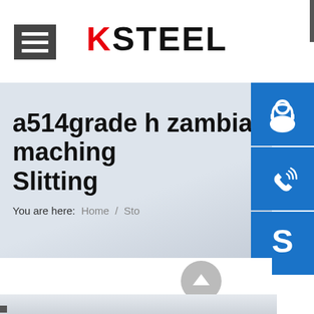[Figure (logo): KSTEEL logo with red K letter]
[Figure (screenshot): Hamburger navigation menu icon (three white horizontal lines on dark gray background)]
[Figure (other): Blue side button with customer service headset icon]
[Figure (other): Blue side button with phone/signal icon]
[Figure (other): Blue side button with Skype icon]
a514grade h zambia machining Slitting
You are here:  Home / Sto
[Figure (other): Gray circular back-to-top arrow button]
[Figure (photo): Partial image of steel/metal material at bottom of page]